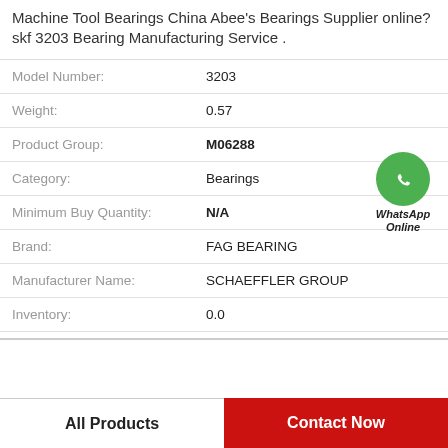Machine Tool Bearings China Abee's Bearings Supplier online? skf 3203 Bearing Manufacturing Service .
| Field | Value |
| --- | --- |
| Model Number: | 3203 |
| Weight: | 0.57 |
| Product Group: | M06288 |
| Category: | Bearings |
| Minimum Buy Quantity: | N/A |
| Brand: | FAG BEARING |
| Manufacturer Name: | SCHAEFFLER GROUP |
| Inventory: | 0.0 |
[Figure (logo): WhatsApp Online green circle icon with phone handset, labeled WhatsApp Online in italic bold text]
All Products
Contact Now